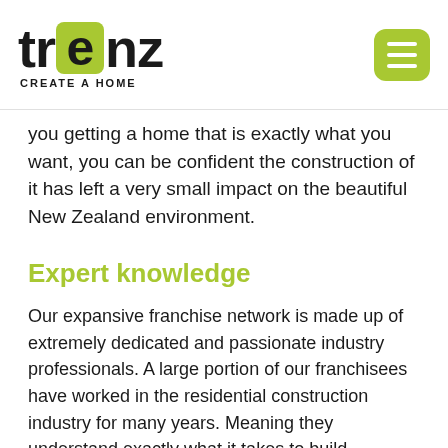[Figure (logo): Trenz logo with 'CREATE A HOME' tagline and green hamburger menu button]
you getting a home that is exactly what you want, you can be confident the construction of it has left a very small impact on the beautiful New Zealand environment.
Expert knowledge
Our expansive franchise network is made up of extremely dedicated and passionate industry professionals. A large portion of our franchisees have worked in the residential construction industry for many years. Meaning they understand exactly what it takes to build beautiful and long-lasting homes.
The Trenz network spans the length of the country, which means there is a Trenz franchisee in your